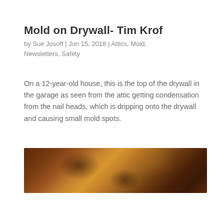Mold on Drywall- Tim Krof
by Sue Josoff | Jun 15, 2018 | Attics, Mold, Newsletters, Safety
On a 12-year-old house, this is the top of the drywall in the garage as seen from the attic getting condensation from the nail heads, which is dripping onto the drywall and causing small mold spots.
[Figure (photo): Close-up photograph of the top of drywall in a garage attic showing wooden framing and nail heads with mold spots caused by condensation dripping onto the drywall surface.]